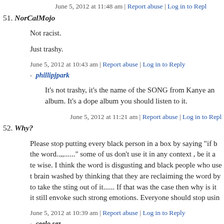June 5, 2012 at 11:48 am | Report abuse | Log in to Reply
51. NorCalMojo
Not racist.
Just trashy.
June 5, 2012 at 10:43 am | Report abuse | Log in to Reply
phillipjpark
It's not trashy, it's the name of the SONG from Kanye and album. It's a dope album you should listen to it.
June 5, 2012 at 11:21 am | Report abuse | Log in to Reply
52. Why?
Please stop putting every black person in a box by saying "if b the word..,......" some of us don't use it in any context , be it a te wise. I think the word is disgusting and black people who use t brain washed by thinking that they are reclaiming the word by to take the sting out of it...... If that was the case then why is it it still envoke such strong emotions. Everyone should stop usin
June 5, 2012 at 10:39 am | Report abuse | Log in to Reply
ceelo sez